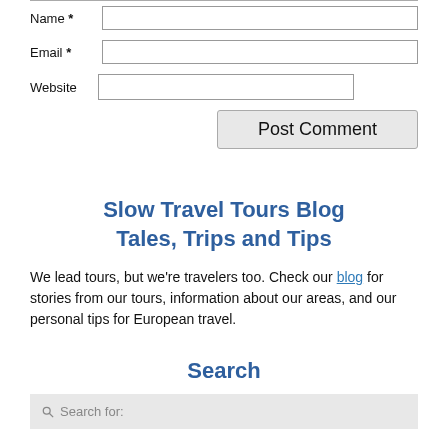Name *
Email *
Website
Post Comment
Slow Travel Tours Blog Tales, Trips and Tips
We lead tours, but we're travelers too. Check our blog for stories from our tours, information about our areas, and our personal tips for European travel.
Search
Search for: